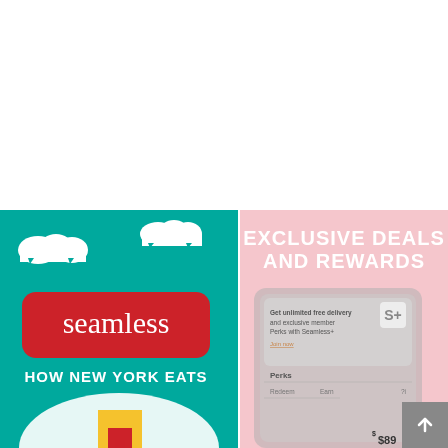[Figure (illustration): Seamless food delivery app promotional image. Left half: teal background with white cloud illustrations, a red rounded rectangle badge with 'seamless' in white serif text, tagline 'HOW NEW YORK EATS' in bold white uppercase text, and a building illustration at the bottom. Right half: pink/rose background with 'EXCLUSIVE DEALS AND REWARDS' in bold white uppercase text, and a phone mockup showing Seamless+ membership promotion with perks info and pricing '$89'.]